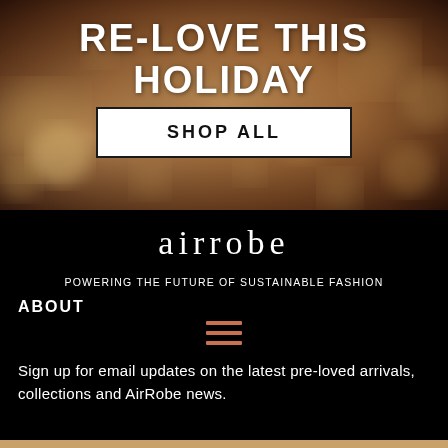[Figure (photo): Bokeh background photo with warm golden/brown tones suggesting festive holiday atmosphere]
RE-LOVE THIS HOLIDAY
SHOP ALL
[Figure (logo): airrobe logo in light serif font on black background]
POWERING THE FUTURE OF SUSTAINABLE FASHION
ABOUT
[Figure (other): Hamburger menu icon with three horizontal orange/red lines]
Sign up for email updates on the latest pre-loved arrivals, collections and AirRobe news.